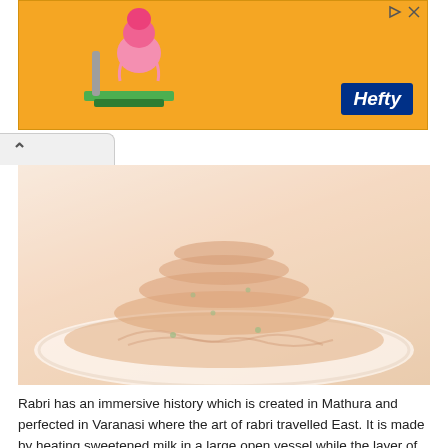[Figure (photo): Orange advertisement banner with Hefty brand logo on right and ice cream illustration on left]
[Figure (photo): Stacked Indian sweets (jalebi or similar) piled on a white plate, light pink/orange tones, faded/washed out photograph]
Rabri has an immersive history which is created in Mathura and perfected in Varanasi where the art of rabri travelled East. It is made by heating sweetened milk in a large open vessel while the layer of cream begins to in the surface of the milk. It has various variations while they are travelling to different parts of the country